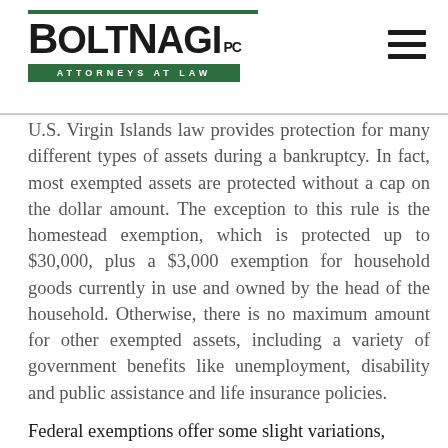[Figure (logo): BoltNagi PC Attorneys at Law law firm logo with green horizontal bars and green tagline banner]
U.S. Virgin Islands law provides protection for many different types of assets during a bankruptcy. In fact, most exempted assets are protected without a cap on the dollar amount. The exception to this rule is the homestead exemption, which is protected up to $30,000, plus a $3,000 exemption for household goods currently in use and owned by the head of the household. Otherwise, there is no maximum amount for other exempted assets, including a variety of government benefits like unemployment, disability and public assistance and life insurance policies.
Federal exemptions offer some slight variations,